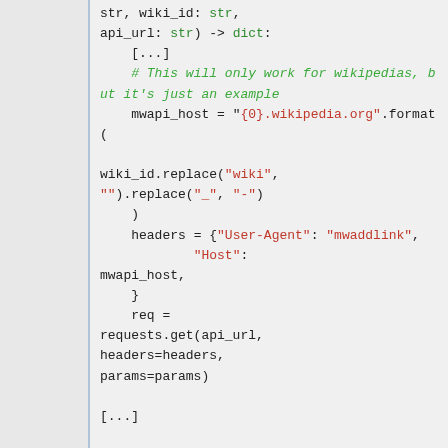[Figure (screenshot): Code snippet showing Python code with syntax highlighting. Code includes function definition parameters (str, wiki_id: str, api_url: str) -> dict, a comment about wikipedia, mwapi_host assignment, wiki_id.replace calls, headers dictionary with User-Agent and Host keys, req assignment with requests.get call, and getPageDict function call.]